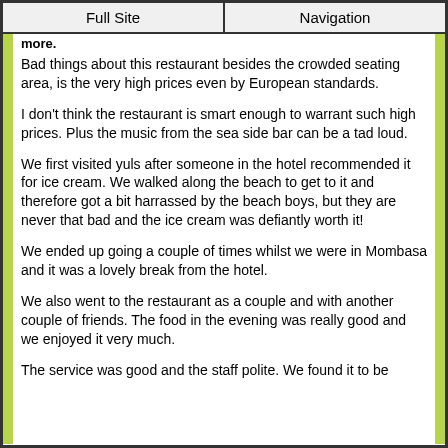Full Site | Navigation
more.
Bad things about this restaurant besides the crowded seating area, is the very high prices even by European standards.
I don't think the restaurant is smart enough to warrant such high prices. Plus the music from the sea side bar can be a tad loud.
We first visited yuls after someone in the hotel recommended it for ice cream. We walked along the beach to get to it and therefore got a bit harrassed by the beach boys, but they are never that bad and the ice cream was defiantly worth it!
We ended up going a couple of times whilst we were in Mombasa and it was a lovely break from the hotel.
We also went to the restaurant as a couple and with another couple of friends. The food in the evening was really good and we enjoyed it very much.
The service was good and the staff polite. We found it to be